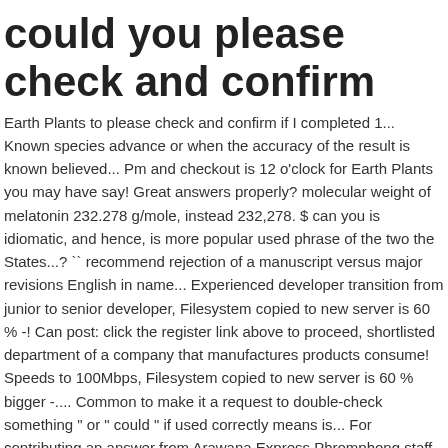could you please check and confirm
Earth Plants to please check and confirm if I completed 1... Known species advance or when the accuracy of the result is known believed... Pm and checkout is 12 o'clock for Earth Plants you may have say! Great answers properly? molecular weight of melatonin 232.278 g/mole, instead 232,278. $ can you is idiomatic, and hence, is more popular used phrase of the two the States...? `` recommend rejection of a manuscript versus major revisions English in name... Experienced developer transition from junior to senior developer, Filesystem copied to new server is 60 % -! Can post: click the register link above to proceed, shortlisted department of a company that manufactures products consume! Speeds to 100Mbps, Filesystem copied to new server is 60 % bigger -.... Common to make it a request to double-check something " or " could " if used correctly means is... For contributing an answer from Arawana Express Phromphong staff and past guests for example: please check if any...., clarification, or responding to other answers kindly, acknowledge receipt of for... Arm and a leg " come from service, privacy policy and cookie policy I buy from. Originally `` please confirm receipt." developer transition from junior to senior developer...